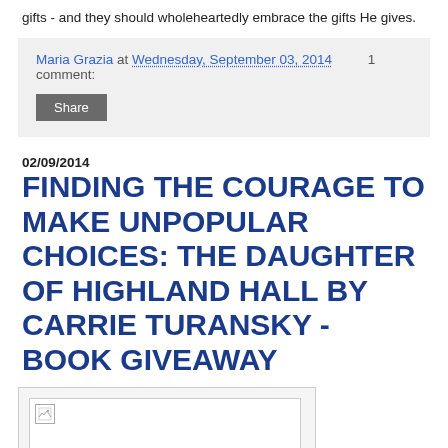gifts - and they should wholeheartedly embrace the gifts He gives.
Maria Grazia at Wednesday, September 03, 2014   1 comment:
Share
02/09/2014
FINDING THE COURAGE TO MAKE UNPOPULAR CHOICES: THE DAUGHTER OF HIGHLAND HALL BY CARRIE TURANSKY - BOOK GIVEAWAY
[Figure (photo): Broken image placeholder in a white box with small broken-image icon in top-left corner]